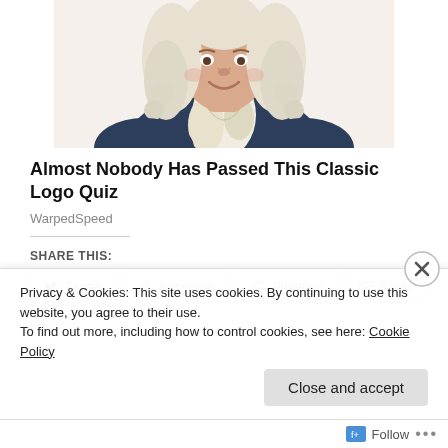[Figure (illustration): Illustrated portrait of a historical figure in colonial/18th century attire with white powdered wig, blue coat, and white cravat, smiling, shown from torso up.]
Almost Nobody Has Passed This Classic Logo Quiz
WarpedSpeed
SHARE THIS:
Twitter  Facebook  Pinterest  Email
Loading
Privacy & Cookies: This site uses cookies. By continuing to use this website, you agree to their use.
To find out more, including how to control cookies, see here: Cookie Policy
Close and accept